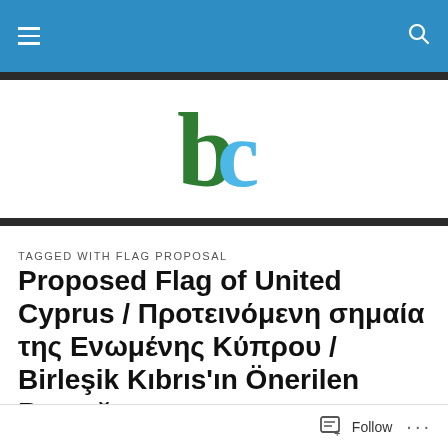[Figure (logo): Blue and green 'bc' logo on white background]
TAGGED WITH FLAG PROPOSAL
Proposed Flag of United Cyprus / Προτεινόμενη σημαία της Ενωμένης Κύπρου / Birleşik Kıbrıs'ın Önerilen Bayrağı